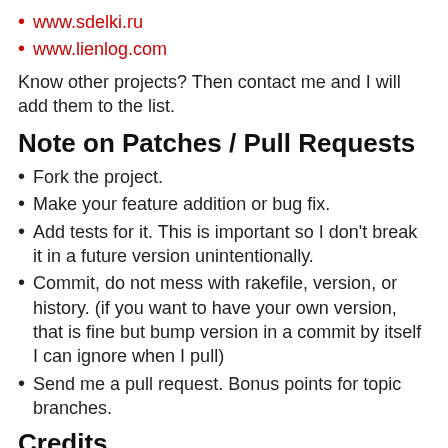www.sdelki.ru
www.lienlog.com
Know other projects? Then contact me and I will add them to the list.
Note on Patches / Pull Requests
Fork the project.
Make your feature addition or bug fix.
Add tests for it. This is important so I don't break it in a future version unintentionally.
Commit, do not mess with rakefile, version, or history. (if you want to have your own version, that is fine but bump version in a commit by itself I can ignore when I pull)
Send me a pull request. Bonus points for topic branches.
Credits
[Figure (illustration): JetRockets logo image placeholder]